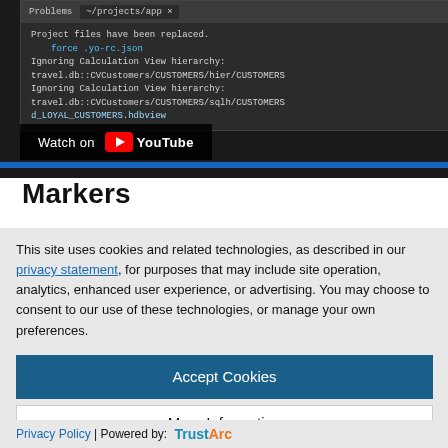[Figure (screenshot): IDE/terminal screenshot showing project files replaced message with code lines including 'force .yo-rc.json' and 'Ignoring Calculation View hierarchy' messages. A 'Watch on YouTube' overlay button is visible at the bottom left.]
Markers
This site uses cookies and related technologies, as described in our privacy statement, for purposes that may include site operation, analytics, enhanced user experience, or advertising. You may choose to consent to our use of these technologies, or manage your own preferences.
Accept Cookies
More Information
Privacy Policy | Powered by: TrustArc